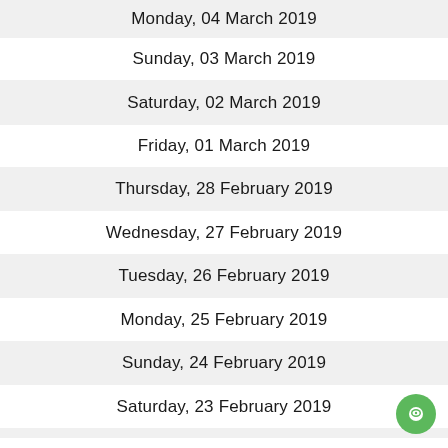Monday, 04 March 2019
Sunday, 03 March 2019
Saturday, 02 March 2019
Friday, 01 March 2019
Thursday, 28 February 2019
Wednesday, 27 February 2019
Tuesday, 26 February 2019
Monday, 25 February 2019
Sunday, 24 February 2019
Saturday, 23 February 2019
Friday, 22 February 2019